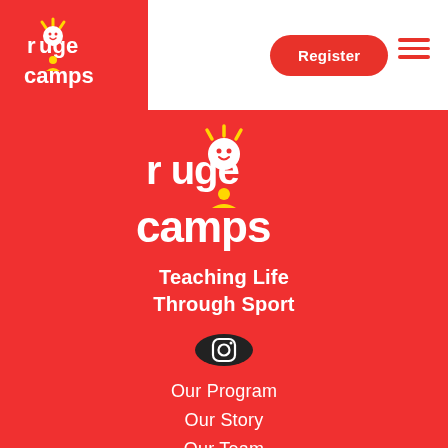[Figure (logo): Rouge Camps logo in white text on red background, small version in header]
Register
[Figure (logo): Rouge Camps logo large white text on red background in body section]
Teaching Life Through Sport
[Figure (illustration): Instagram icon in white on dark circular background]
Our Program
Our Story
Our Team
FAQ
Policies